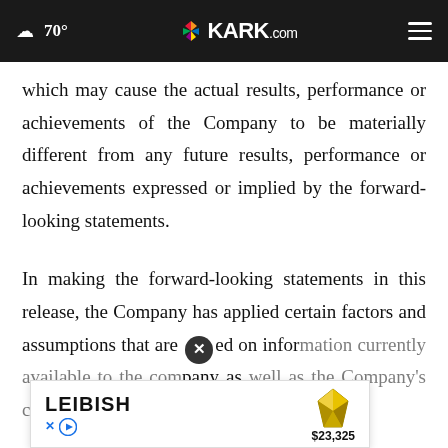☁ 70° | KARK.com
which may cause the actual results, performance or achievements of the Company to be materially different from any future results, performance or achievements expressed or implied by the forward-looking statements.
In making the forward-looking statements in this release, the Company has applied certain factors and assumptions that are based on information currently available to the Company as well as the Company's current beliefs and
[Figure (other): Advertisement overlay showing LEIBISH brand with a yellow gemstone image and price $23,325, with close button and ad controls]